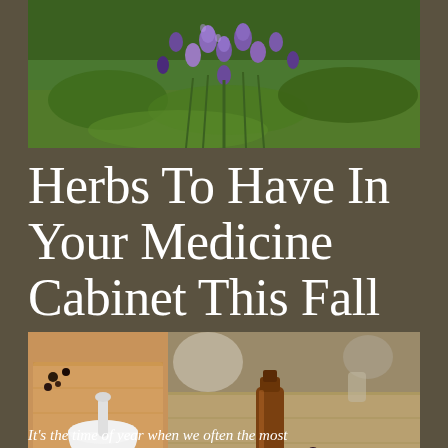[Figure (photo): Purple flowering herb (likely monkshood/aconitum) against green foliage background]
Herbs To Have In Your Medicine Cabinet This Fall
[Figure (photo): Two photos side by side: left shows mortar and pestle with dried herbs and spices on a wooden board; right shows amber glass bottle with dried herbs and flowers spread on a wooden surface]
It's the time of year when we often the most